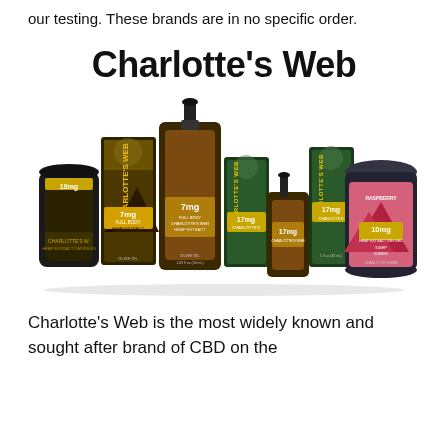our testing. These brands are in no specific order.
Charlotte's Web
[Figure (photo): A collection of Charlotte's Web CBD product bottles and packages, including tinctures, capsules, and a wide jar, displayed together showing various product lines with mountain imagery on labels.]
Charlotte's Web is the most widely known and sought after brand of CBD on the